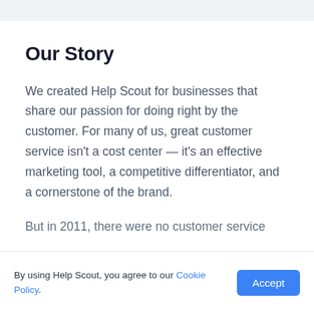Our Story
We created Help Scout for businesses that share our passion for doing right by the customer. For many of us, great customer service isn't a cost center — it's an effective marketing tool, a competitive differentiator, and a cornerstone of the brand.
But in 2011, there were no customer service
By using Help Scout, you agree to our Cookie Policy.  [Accept]